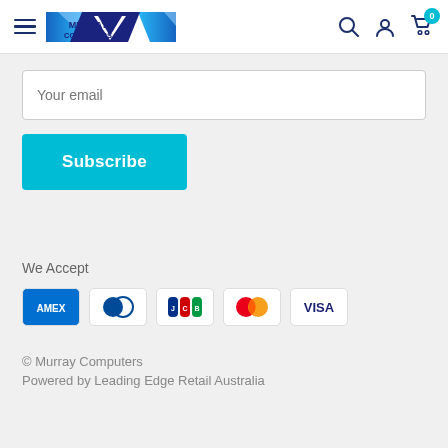[Figure (logo): Murray Computers logo with blue geometric design and text 'MURRAY COMPUTERS']
Your email
Subscribe
We Accept
[Figure (other): Payment method icons: American Express (AMEX), Diners Club, JCB, Mastercard, Visa]
© Murray Computers
Powered by Leading Edge Retail Australia